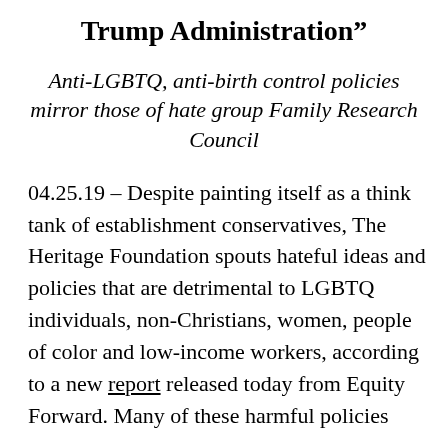Trump Administration”
Anti-LGBTQ, anti-birth control policies mirror those of hate group Family Research Council
04.25.19 – Despite painting itself as a think tank of establishment conservatives, The Heritage Foundation spouts hateful ideas and policies that are detrimental to LGBTQ individuals, non-Christians, women, people of color and low-income workers, according to a new report released today from Equity Forward. Many of these harmful policies